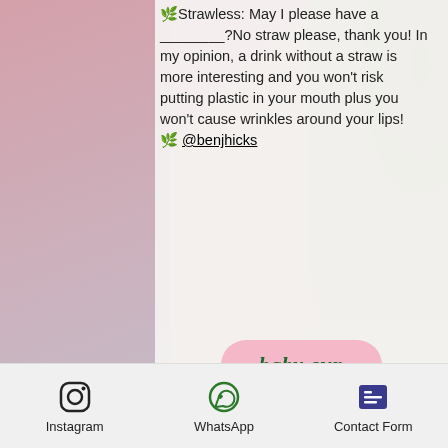🌿Strawless: May I please have a ________?No straw please, thank you! In my opinion, a drink without a straw is more interesting and you won't risk putting plastic in your mouth plus you won't cause wrinkles around your lips! 🌿 @benjhicks
baby cup
straws
silicone bags
food storage
Instagram | WhatsApp | Contact Form